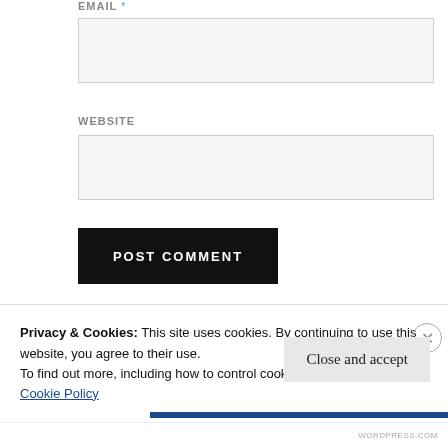EMAIL *
WEBSITE
POST COMMENT
Notify me of new comments via email.
Privacy & Cookies: This site uses cookies. By continuing to use this website, you agree to their use. To find out more, including how to control cookies, see here: Cookie Policy
Close and accept